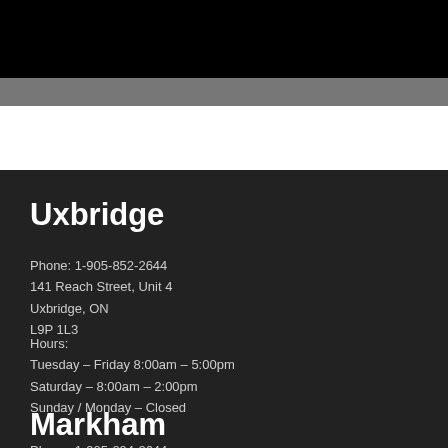[Figure (other): Black header bar with gray accent stripe at bottom]
Uxbridge
Phone: 1-905-852-2644
141 Reach Street, Unit 4
Uxbridge, ON
L9P 1L3
Hours:
Tuesday – Friday 8:00am – 5:00pm
Saturday – 8:00am – 2:00pm
Sunday / Monday – Closed
Markham
Phone: 1-905-294-2644